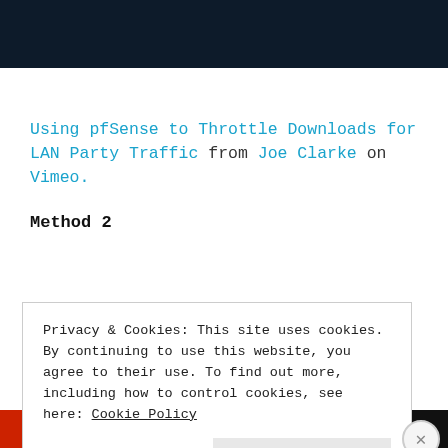[Figure (screenshot): Dark navy blue banner at top of page]
Using pfSense to Throttle Downloads for LAN Party Traffic from Joe Clarke on Vimeo.
Method 2
Privacy & Cookies: This site uses cookies. By continuing to use this website, you agree to their use. To find out more, including how to control cookies, see here: Cookie Policy
[Figure (screenshot): Bottom strip with red and dark banner at bottom of page]